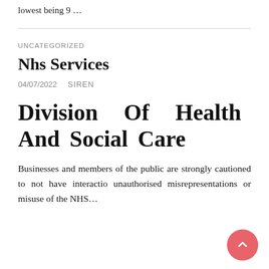lowest being 9 …
UNCATEGORIZED
Nhs Services
04/07/2022   SIREN
Division Of Health And Social Care
Businesses and members of the public are strongly cautioned to not have interactions unauthorised misrepresentations or misuse of the NHS…